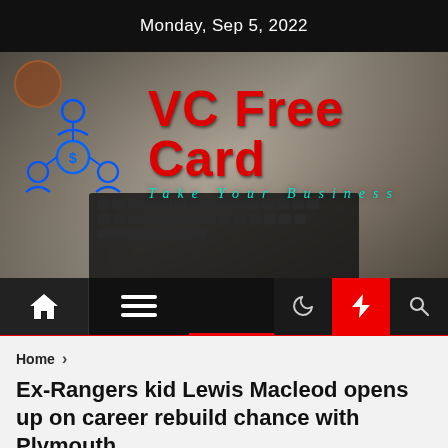Monday, Sep 5, 2022
[Figure (logo): VC Free Card website hero banner with logo showing 'VC Free Card' in red bold text and 'Take Your Business' in teal italic text, with blue network/people icons on a desk background with laptop keyboard]
[Figure (screenshot): Navigation bar with home icon, hamburger menu, moon icon, red lightning bolt button, and search icon]
Home
Ex-Rangers kid Lewis Macleod opens up on career rebuild chance with Plymouth